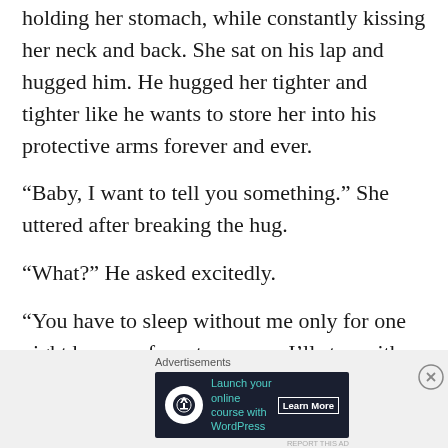holding her stomach, while constantly kissing her neck and back. She sat on his lap and hugged him. He hugged her tighter and tighter like he wants to store her into his protective arms forever and ever.
“Baby, I want to tell you something.” She uttered after breaking the hug.
“What?” He asked excitedly.
“You have to sleep without me only for one night because from tomorrow I’ll stay with you at your penthouse by going on fake vacation.”
Advertisements
[Figure (other): Advertisement banner: Launch your online course with WordPress - Learn More button, dark background with teal text and tree logo icon]